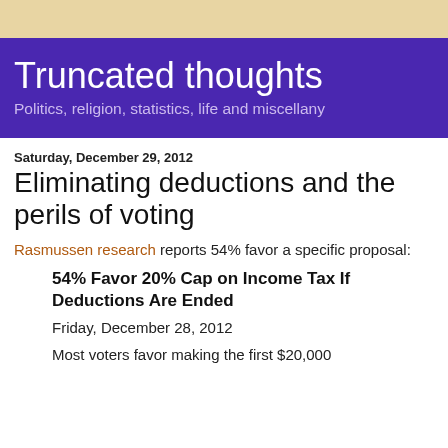Truncated thoughts
Politics, religion, statistics, life and miscellany
Saturday, December 29, 2012
Eliminating deductions and the perils of voting
Rasmussen research reports 54% favor a specific proposal:
54% Favor 20% Cap on Income Tax If Deductions Are Ended
Friday, December 28, 2012
Most voters favor making the first $20,000